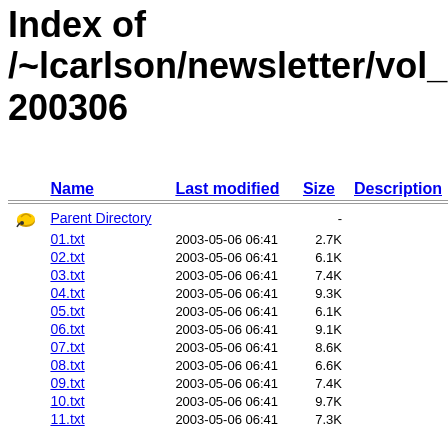Index of /~lcarlson/newsletter/vol_01_200 200306
| Name | Last modified | Size | Description |
| --- | --- | --- | --- |
| Parent Directory |  | - |  |
| 01.txt | 2003-05-06 06:41 | 2.7K |  |
| 02.txt | 2003-05-06 06:41 | 6.1K |  |
| 03.txt | 2003-05-06 06:41 | 7.4K |  |
| 04.txt | 2003-05-06 06:41 | 9.3K |  |
| 05.txt | 2003-05-06 06:41 | 6.1K |  |
| 06.txt | 2003-05-06 06:41 | 9.1K |  |
| 07.txt | 2003-05-06 06:41 | 8.6K |  |
| 08.txt | 2003-05-06 06:41 | 6.6K |  |
| 09.txt | 2003-05-06 06:41 | 7.4K |  |
| 10.txt | 2003-05-06 06:41 | 9.7K |  |
| 11.txt | 2003-05-06 06:41 | 7.3K |  |